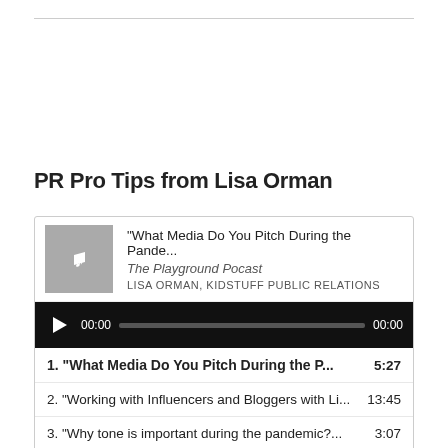PR Pro Tips from Lisa Orman
[Figure (screenshot): Podcast audio player widget showing episode 'What Media Do You Pitch During the Pande...' from The Playground Pocast by Lisa Orman, Kidstuff Public Relations, with a black audio control bar showing play button, 00:00 timestamp, progress bar, and 00:00 end time.]
1. “What Media Do You Pitch During the P...	5:27
2. “Working with Influencers and Bloggers with Li...	13:45
3. “Why tone is important during the pandemic?...	3:07
4. “Lisa Orman on Budgets”	4:56
5. “Lisa Orman - Play Matters”	6:35